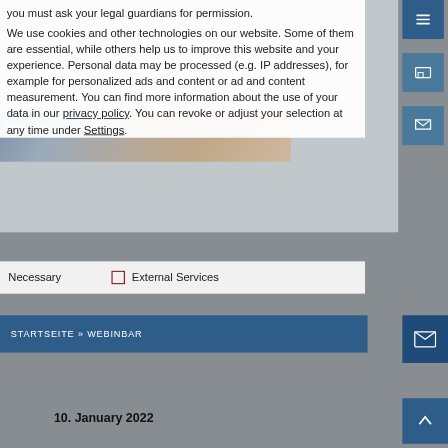[Figure (screenshot): Screenshot of a website with a cookie consent overlay dialog. The overlay contains text about cookies and data processing, checkboxes for 'Necessary' and 'External Services', a blue navigation bar reading 'STARTSEITE » WEBINBAR', and right-side icon buttons. Behind the overlay is a webinar page with a photo of people and a gray background. Below the cookie overlay, the page shows a date '10. January 2022' and a heading 'Happy New Year!' on a gray background.]